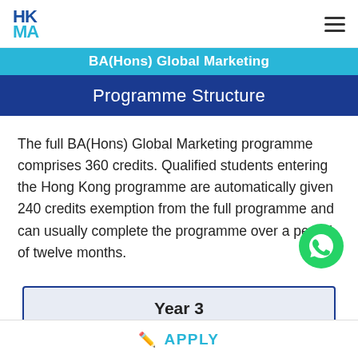[Figure (logo): HKMA logo with HK in blue and MA in cyan, stacked]
BA(Hons) Global Marketing
Programme Structure
The full BA(Hons) Global Marketing programme comprises 360 credits. Qualified students entering the Hong Kong programme are automatically given 240 credits exemption from the full programme and can usually complete the programme over a period of twelve months.
Year 3
(120 Credits)
APPLY